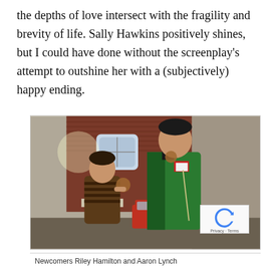the depths of love intersect with the fragility and brevity of life. Sally Hawkins positively shines, but I could have done without the screenplay's attempt to outshine her with a (subjectively) happy ending.
[Figure (photo): Two boys standing outdoors on a street. The smaller boy on the left wears a brown striped jumper and holds a fluffy toy. The taller boy on the right wears a green tracksuit jacket and holds something near his chest. Background shows a red brick building and a street sign reading 'McMaster St'.]
Newcomers Riley Hamilton and Aaron Lynch